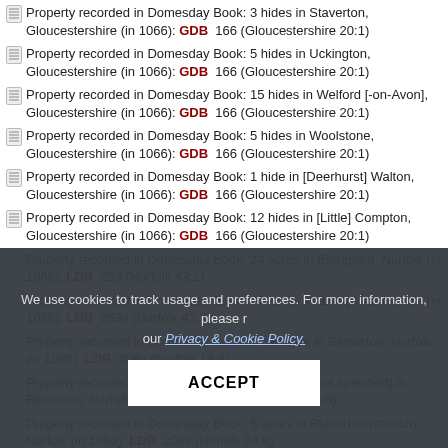Property recorded in Domesday Book: 3 hides in Staverton, Gloucestershire (in 1066): GDB 166 (Gloucestershire 20:1)
Property recorded in Domesday Book: 5 hides in Uckington, Gloucestershire (in 1066): GDB 166 (Gloucestershire 20:1)
Property recorded in Domesday Book: 15 hides in Welford [-on-Avon], Gloucestershire (in 1066): GDB 166 (Gloucestershire 20:1)
Property recorded in Domesday Book: 5 hides in Woolstone, Gloucestershire (in 1066): GDB 166 (Gloucestershire 20:1)
Property recorded in Domesday Book: 1 hide in [Deerhurst] Walton, Gloucestershire (in 1066): GDB 166 (Gloucestershire 20:1)
Property recorded in Domesday Book: 12 hides in [Little] Compton, Gloucestershire (in 1066): GDB 166 (Gloucestershire 20:1)
Property recorded in Domesday Book: 24 acres in Billingford, Norfolk (in 1066): LDB 263 (Norfolk 43:2)
Property recorded in Domesday Book: 40 acres in Billingford, Norfolk (in 1066): LDB 263v (Norfolk 43:2)
Property recorded in Domesday Book: 1 carucate in Blonorton, Norfolk (in 1086): LDB 209v (Norfolk 14:8)
Property recorded in Domesday Book: [fiscal data not specified] in Blonorton, Norfolk (in 1086): LDB 209v (Norfolk 14:8)
Property recorded in Domesday Book: 5 acres in Blonorton (church), Norfolk (in 1066): LDB 209v (Norfolk 14:8)
Property recorded in Domesday Book: 5 acres in Blonorton (church) ...
We use cookies to track usage and preferences. For more information, please read our Privacy & Cookie Policy.
ACCEPT